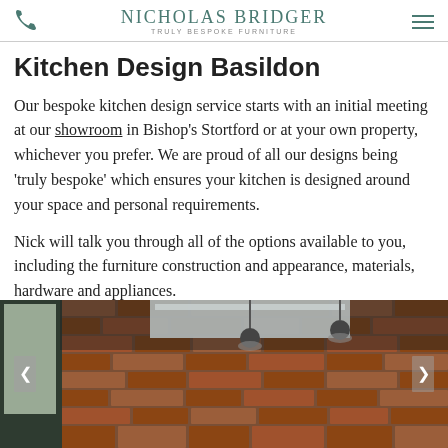Nicholas Bridger — Truly Bespoke Furniture
Kitchen Design Basildon
Our bespoke kitchen design service starts with an initial meeting at our showroom in Bishop's Stortford or at your own property, whichever you prefer. We are proud of all our designs being 'truly bespoke' which ensures your kitchen is designed around your space and personal requirements.
Nick will talk you through all of the options available to you, including the furniture construction and appearance, materials, hardware and appliances.
[Figure (photo): Kitchen interior with exposed red brick wall, industrial-style hanging lights, a stainless steel range hood, and modern kitchen cabinetry. Photo shown in a slideshow with left and right navigation arrows.]